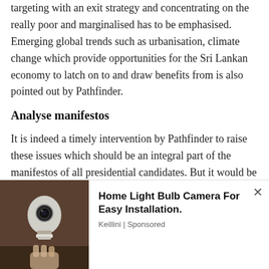targeting with an exit strategy and concentrating on the really poor and marginalised has to be emphasised. Emerging global trends such as urbanisation, climate change which provide opportunities for the Sri Lankan economy to latch on to and draw benefits from is also pointed out by Pathfinder.
Analyse manifestos
It is indeed a timely intervention by Pathfinder to raise these issues which should be an integral part of the manifestos of all presidential candidates. But it would be a pity
[Figure (photo): Advertisement showing a home light bulb camera product image (smart camera shaped like a light bulb) on a dark brown background, with ad text 'Home Light Bulb Camera For Easy Installation.' by Keillini | Sponsored, and a close (x) button.]